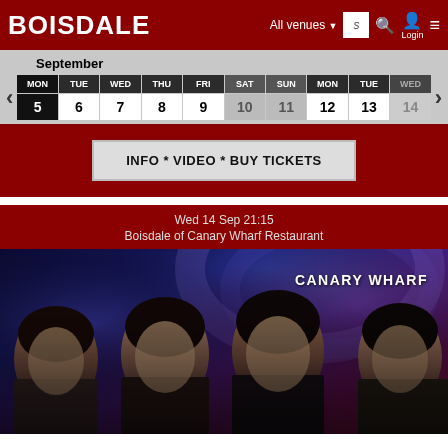Boisdale — All venues — Login
September
| MON | TUE | WED | THU | FRI | SAT | SUN | MON | TUE | WED |
| --- | --- | --- | --- | --- | --- | --- | --- | --- | --- |
| 5 | 6 | 7 | 8 | 9 | 10 | 11 | 12 | 13 | 14 |
INFO * VIDEO * BUY TICKETS
Wed 14 Sep 21:15
Boisdale of Canary Wharf Restaurant
[Figure (photo): Four male performers on stage with blue and purple stage lighting, 'CANARY WHARF' text in top right corner]